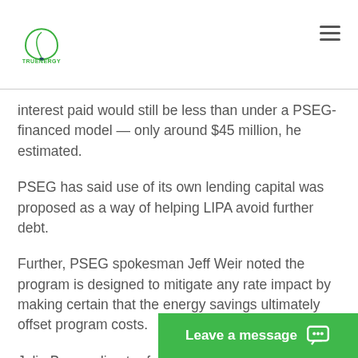TRUENERGY
interest paid would still be less than under a PSEG-financed model — only around $45 million, he estimated.
PSEG has said use of its own lending capital was proposed as a way of helping LIPA avoid further debt.
Further, PSEG spokesman Jeff Weir noted the program is designed to mitigate any rate impact by making certain that the energy savings ultimately offset program costs.
Julia Bovey, director for the Department of Public Service's Lon...